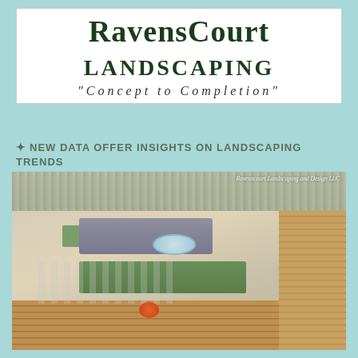[Figure (logo): RavensCourt Landscaping logo with company name in dark green serif font and tagline 'Concept to Completion' in spaced italic letters, on white background]
✦ NEW DATA OFFER INSIGHTS ON LANDSCAPING TRENDS
[Figure (photo): Aerial/elevated view of a modern landscaped backyard patio with gray sectional sofa, concrete planters, green grass strips, gravel areas, circular water feature, orange garden stool, white metal chairs with cushions, wooden deck on the right side, and tropical plants in the foreground. Watermark reads 'Ravenscourt Landscaping and Design LLC']